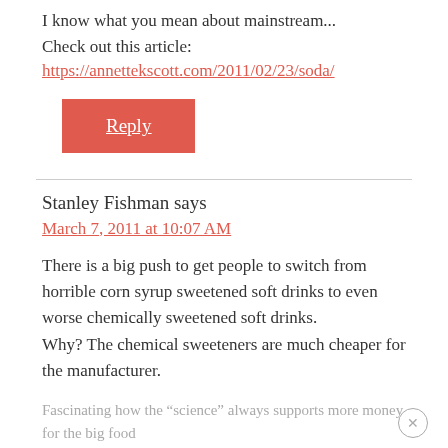I know what you mean about mainstream... Check out this article:
https://annettekscott.com/2011/02/23/soda/
Reply
Stanley Fishman says
March 7, 2011 at 10:07 AM
There is a big push to get people to switch from horrible corn syrup sweetened soft drinks to even worse chemically sweetened soft drinks.
Why? The chemical sweeteners are much cheaper for the manufacturer.
Fascinating how the “science” always supports more money for the big food